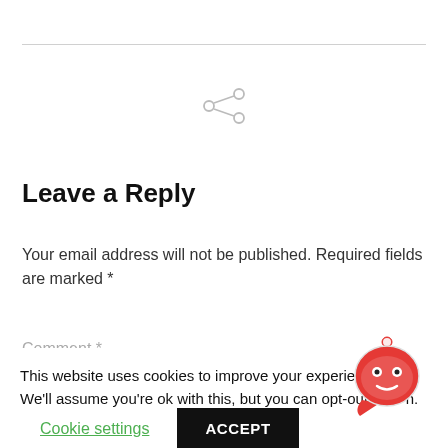[Figure (other): Share icon (circle nodes connected by lines)]
Leave a Reply
Your email address will not be published. Required fields are marked *
Comment *
This website uses cookies to improve your experience. We'll assume you're ok with this, but you can opt-out if you wish.
Cookie settings    ACCEPT